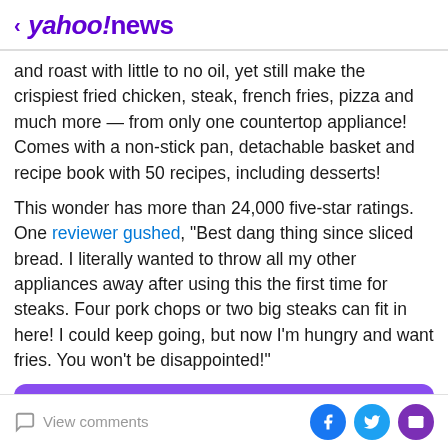< yahoo!news
and roast with little to no oil, yet still make the crispiest fried chicken, steak, french fries, pizza and much more — from only one countertop appliance! Comes with a non-stick pan, detachable basket and recipe book with 50 recipes, including desserts!
This wonder has more than 24,000 five-star ratings. One reviewer gushed, "Best dang thing since sliced bread. I literally wanted to throw all my other appliances away after using this the first time for steaks. Four pork chops or two big steaks can fit in here! I could keep going, but now I'm hungry and want fries. You won't be disappointed!"
View comments